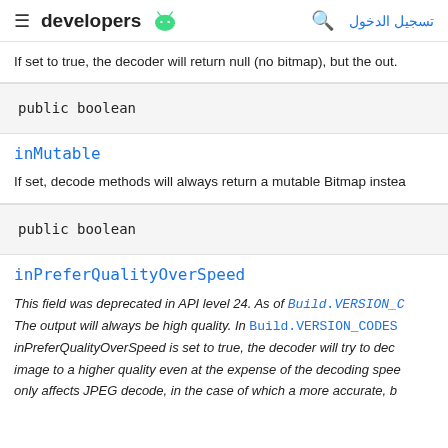≡ developers 🤖  🔍  تسجيل الدخول
If set to true, the decoder will return null (no bitmap), but the out.
public boolean
inMutable
If set, decode methods will always return a mutable Bitmap instea
public boolean
inPreferQualityOverSpeed
This field was deprecated in API level 24. As of Build.VERSION_C The output will always be high quality. In Build.VERSION_CODES inPreferQualityOverSpeed is set to true, the decoder will try to dec image to a higher quality even at the expense of the decoding spee only affects JPEG decode, in the case of which a more accurate, b